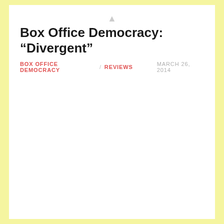Box Office Democracy: “Divergent”
BOX OFFICE DEMOCRACY / REVIEWS    MARCH 26, 2014